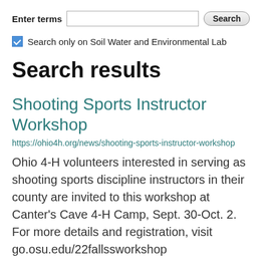Enter terms [search input] Search
Search only on Soil Water and Environmental Lab
Search results
Shooting Sports Instructor Workshop
https://ohio4h.org/news/shooting-sports-instructor-workshop
Ohio 4-H volunteers interested in serving as shooting sports discipline instructors in their county are invited to this workshop at Canter's Cave 4-H Camp, Sept. 30-Oct. 2. For more details and registration, visit go.osu.edu/22fallssworkshop